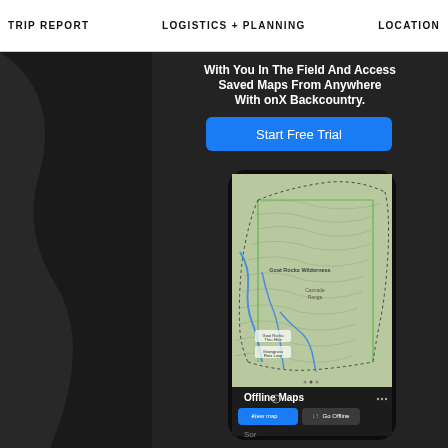TRIP REPORT    LOGISTICS + PLANNING    LOCATION
With You In The Field And Access Saved Maps From Anywhere With onX Backcountry.
[Figure (screenshot): Blue button labeled 'Start Free Trial' on dark background with rocky terrain]
[Figure (screenshot): Smartphone screen showing onX Backcountry app with topographic map of Goat Rocks Wilderness and Offline Maps panel at bottom with 'New map' and 'Go Offline' buttons]